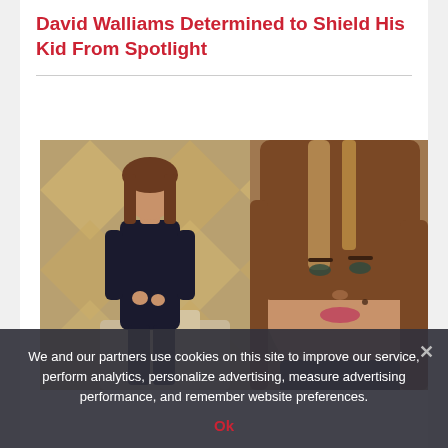David Walliams Determined to Shield His Kid From Spotlight
[Figure (photo): A woman with long brown highlighted hair wearing a black outfit, shown in two poses — full body on the left and a close-up portrait on the right — in front of a decorative gold and silver geometric backdrop with a sofa.]
We and our partners use cookies on this site to improve our service, perform analytics, personalize advertising, measure advertising performance, and remember website preferences.
Ok